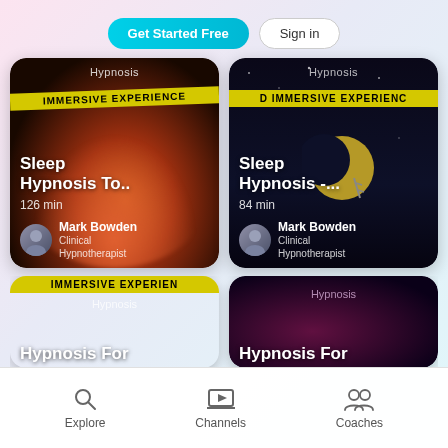[Figure (screenshot): App UI screenshot showing hypnosis content cards with 'Get Started Free' and 'Sign in' buttons at top, two main cards for Sleep Hypnosis sessions by Mark Bowden (Clinical Hypnotherapist), partial cards at bottom, and a navigation bar with Explore, Channels, Coaches tabs]
Get Started Free
Sign in
Hypnosis
Sleep Hypnosis To..
126 min
Mark Bowden
Clinical Hypnotherapist
Hypnosis
Sleep Hypnosis -...
84 min
Mark Bowden
Clinical Hypnotherapist
Hypnosis
Hypnosis For
Hypnosis
Hypnosis For
Explore
Channels
Coaches